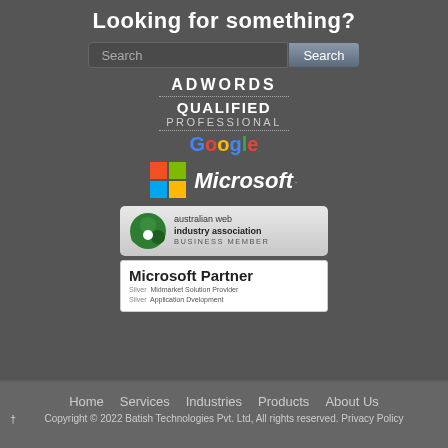Looking for something?
[Figure (screenshot): Search input box with placeholder text 'Search' and a Search button]
[Figure (logo): Google AdWords Qualified Professional badge with Google logo]
[Figure (logo): Microsoft logo with Windows flag icon]
[Figure (logo): Australian Web Industry Association Business Member badge]
[Figure (logo): Microsoft Partner - Silver Midmarket Solution Provider, Silver Application Development]
Home   Services   Industries   Products   About Us
†
Copyright © 2022 Batish Technologies Pvt. Ltd, All rights reserved. Privacy Policy